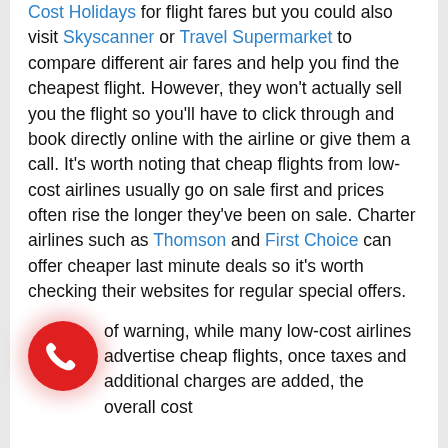Cost Holidays for flight fares but you could also visit Skyscanner or Travel Supermarket to compare different air fares and help you find the cheapest flight. However, they won't actually sell you the flight so you'll have to click through and book directly online with the airline or give them a call. It's worth noting that cheap flights from low-cost airlines usually go on sale first and prices often rise the longer they've been on sale. Charter airlines such as Thomson and First Choice can offer cheaper last minute deals so it's worth checking their websites for regular special offers.
of warning, while many low-cost airlines advertise cheap flights, once taxes and additional charges are added, the overall cost